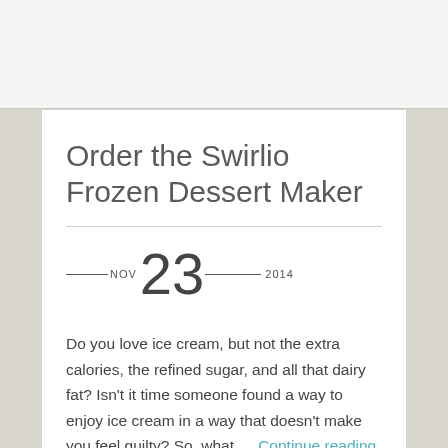Order the Swirlio Frozen Dessert Maker
NOV 23 2014
Do you love ice cream, but not the extra calories, the refined sugar, and all that dairy fat? Isn't it time someone found a way to enjoy ice cream in a way that doesn't make you feel guilty? So, what … Continue reading →